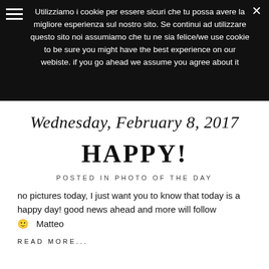Utilizziamo i cookie per essere sicuri che tu possa avere la migliore esperienza sul nostro sito. Se continui ad utilizzare questo sito noi assumiamo che tu ne sia felice/we use cookie to be sure you might have the best experience on our webiste. if you go ahead we assume you agree about it
Wednesday, February 8, 2017
HAPPY!
POSTED IN PHOTO OF THE DAY
no pictures today, I just want you to know that today is a happy day! good news ahead and more will follow 🙂   Matteo
READ MORE...